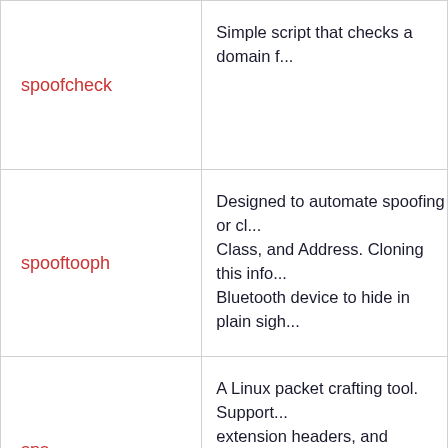| Tool | Description |
| --- | --- |
| spoofcheck | Simple script that checks a domain f... |
| spooftooph | Designed to automate spoofing or cl... Class, and Address. Cloning this info... Bluetooth device to hide in plain sigh... |
| sps | A Linux packet crafting tool. Support... extension headers, and tunneling IPv... |
| sqid | A SQL injection digger. |
| sqlbrute | Brute forces data out of databases u... |